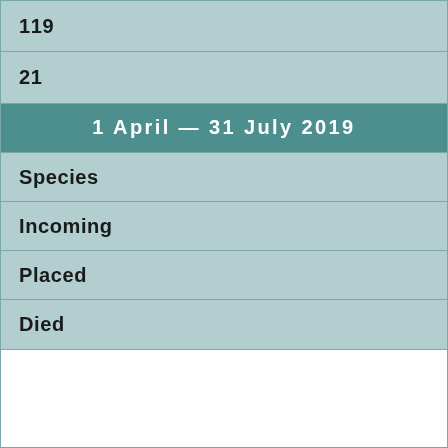| 119 |
| 21 |
| 1 April — 31 July 2019 |
| Species |
| Incoming |
| Placed |
| Died |
|  |